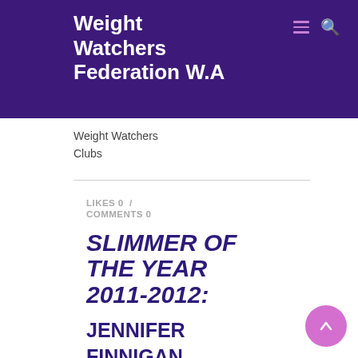Weight Watchers Federation W.A
Weight Watchers Clubs
LIKES 0 / COMMENTS 0
SLIMMER OF THE YEAR 2011-2012: JENNIFER FINNIGAN (ROCKINGHAM W.W.) LOST 37KG